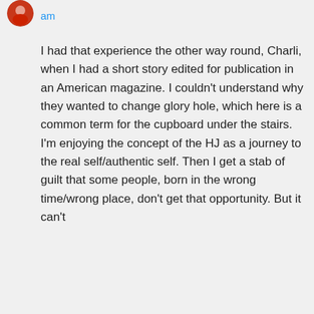[Figure (photo): Small circular avatar with red/dark image of a person]
am
I had that experience the other way round, Charli, when I had a short story edited for publication in an American magazine. I couldn't understand why they wanted to change glory hole, which here is a common term for the cupboard under the stairs.
I'm enjoying the concept of the HJ as a journey to the real self/authentic self. Then I get a stab of guilt that some people, born in the wrong time/wrong place, don't get that opportunity. But it can't